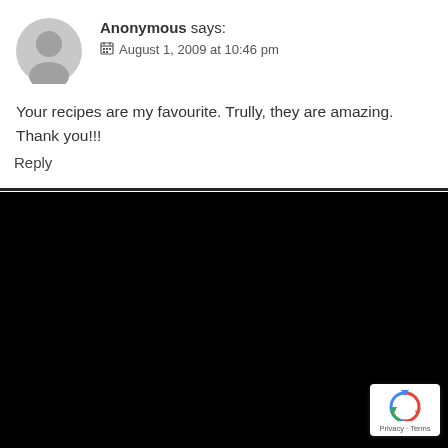[Figure (illustration): Gray circular anonymous user avatar icon]
Anonymous says:
📅 August 1, 2009 at 10:46 pm
Your recipes are my favourite. Trully, they are amazing. Thank you!!!
Reply
[Figure (logo): Google reCAPTCHA badge with recycle-arrow logo and Privacy · Terms text]